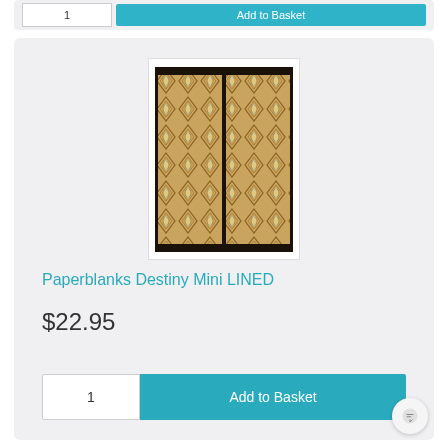[Figure (screenshot): Top portion of a previous product card showing quantity input and Add to Basket button]
[Figure (photo): Paperblanks Destiny Mini LINED journal book cover with ornate brown and gold diamond lattice pattern]
Paperblanks Destiny Mini LINED
$22.95
1  Add to Basket